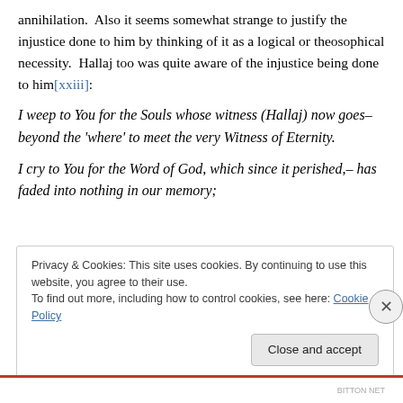annihilation.  Also it seems somewhat strange to justify the injustice done to him by thinking of it as a logical or theosophical necessity.  Hallaj too was quite aware of the injustice being done to him[xxiii]:
I weep to You for the Souls whose witness (Hallaj) now goes–beyond the 'where' to meet the very Witness of Eternity.
I cry to You for the Word of God, which since it perished,– has faded into nothing in our memory;
Privacy & Cookies: This site uses cookies. By continuing to use this website, you agree to their use. To find out more, including how to control cookies, see here: Cookie Policy
Close and accept